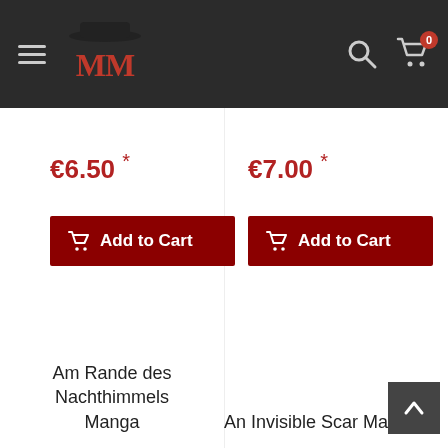MM Store header with logo, hamburger menu, search icon, cart icon (0 items)
€6.50 *
€7.00 *
Add to Cart
Add to Cart
Am Rande des Nachthimmels Manga
An Invisible Scar Manga